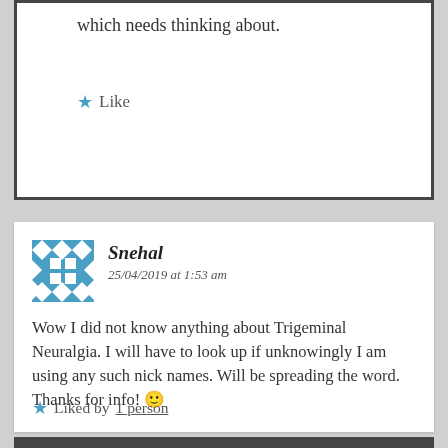which needs thinking about.
★ Like
Snehal
25/04/2019 at 1:53 am
Wow I did not know anything about Trigeminal Neuralgia. I will have to look up if unknowingly I am using any such nick names. Will be spreading the word. Thanks for info! 🙂
★ Liked by 1 person